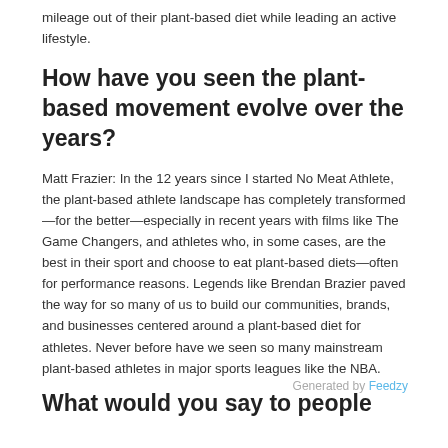mileage out of their plant-based diet while leading an active lifestyle.
How have you seen the plant-based movement evolve over the years?
Matt Frazier: In the 12 years since I started No Meat Athlete, the plant-based athlete landscape has completely transformed—for the better—especially in recent years with films like The Game Changers, and athletes who, in some cases, are the best in their sport and choose to eat plant-based diets—often for performance reasons. Legends like Brendan Brazier paved the way for so many of us to build our communities, brands, and businesses centered around a plant-based diet for athletes. Never before have we seen so many mainstream plant-based athletes in major sports leagues like the NBA.
Generated by Feedzy
What would you say to people